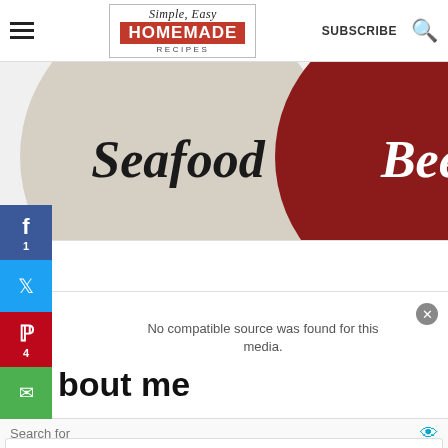Simple, Easy Homemade Recipes — SUBSCRIBE
[Figure (illustration): Two circular badges partially cropped: left one is beige/cream with italic script text 'Seafood', right one is dark red/maroon with italic white script text 'Beef']
bout me
[Figure (screenshot): Ad overlay with search bar 'Search for', two search suggestion rows: 'DIPPING SAUCE RECIPES' and 'HOMEMADE DIPPING SAUCE', and a footer showing 'Ad | Business Focus' with a play button. A video player shows 'No compatible source was found for this media.']